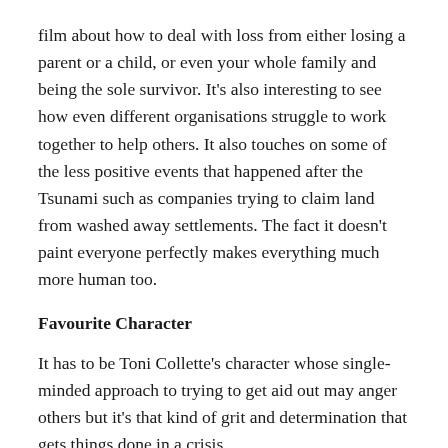film about how to deal with loss from either losing a parent or a child, or even your whole family and being the sole survivor. It's also interesting to see how even different organisations struggle to work together to help others. It also touches on some of the less positive events that happened after the Tsunami such as companies trying to claim land from washed away settlements. The fact it doesn't paint everyone perfectly makes everything much more human too.
Favourite Character
It has to be Toni Collette's character whose single-minded approach to trying to get aid out may anger others but it's that kind of grit and determination that gets things done in a crisis.